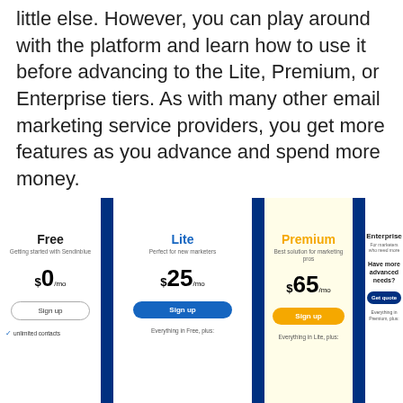With the free plan, you get unlimited contacts but little else. However, you can play around with the platform and learn how to use it before advancing to the Lite, Premium, or Enterprise tiers. As with many other email marketing service providers, you get more features as you advance and spend more money.
[Figure (infographic): Pricing comparison table showing four tiers: Free ($0/mo), Lite ($25/mo), Premium ($65/mo), Enterprise (contact for quote). Each tier has a sign-up or get-quote button and feature lists. Premium column has a light yellow background. Navy blue vertical dividers separate columns.]